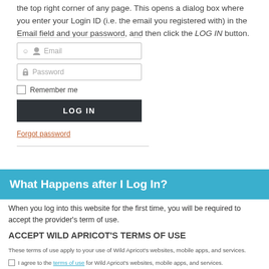the top right corner of any page. This opens a dialog box where you enter your Login ID (i.e. the email you registered with) in the Email field and your password, and then click the LOG IN button.
[Figure (screenshot): Login dialog box with Email field, Password field, Remember me checkbox, LOG IN button, and Forgot password link]
What Happens after I Log In?
When you log into this website for the first time, you will be required to accept the provider's term of use.
ACCEPT WILD APRICOT'S TERMS OF USE
These terms of use apply to your use of Wild Apricot's websites, mobile apps, and services.
I agree to the terms of use for Wild Apricot's websites, mobile apps, and services.